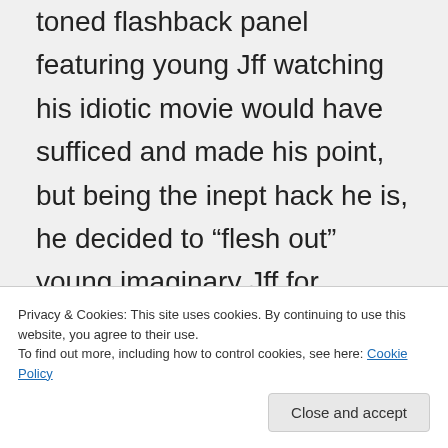toned flashback panel featuring young Jff watching his idiotic movie would have sufficed and made his point, but being the inept hack he is, he decided to “flesh out” young imaginary Jff for reasons only understood by himself. And the result was confusing and stupid to everyone but him.

Jff was already hallucinating BEFORE his near-death experience and upon surviving it he immediately resumed hallucinating
Privacy & Cookies: This site uses cookies. By continuing to use this website, you agree to their use.
To find out more, including how to control cookies, see here: Cookie Policy
the magic robots and their queen